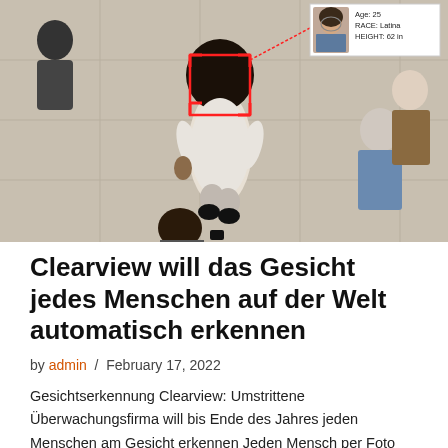[Figure (photo): Aerial view of people walking in a shopping mall or building. One woman in the center has a red facial recognition bounding box overlaid on her face. In the upper right corner, a small inset shows a portrait photo of the woman with text: Age: 25, RACE: Latina, HEIGHT: 62 in.]
Clearview will das Gesicht jedes Menschen auf der Welt automatisch erkennen
by admin / February 17, 2022
Gesichtserkennung Clearview: Umstrittene Überwachungsfirma will bis Ende des Jahres jeden Menschen am Gesicht erkennen Jeden Mensch per Foto erkennen: Das